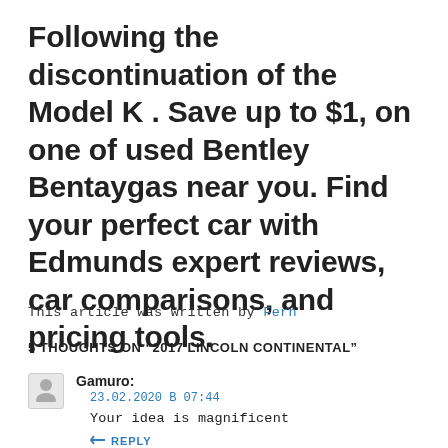Following the discontinuation of the Model K . Save up to $1, on one of used Bentley Bentaygas near you. Find your perfect car with Edmunds expert reviews, car comparisons, and pricing tools.
This article was written by Fern
5 THOUGHTS ON “2017 LINCOLN CONTINENTAL”
Gamuro:
23.02.2020 B 07:44
Your idea is magnificent
REPLY